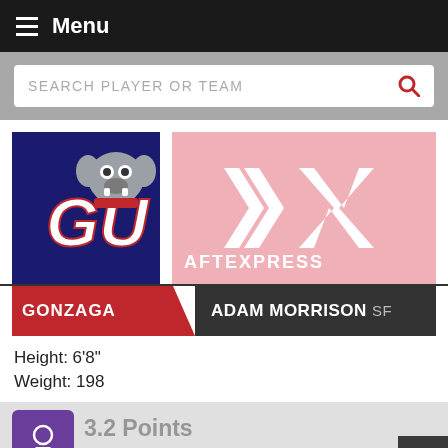Menu
SEARCH PLAYER OR TEAM
[Figure (logo): Gonzaga University GU Bulldogs logo on navy blue background]
[Figure (logo): DraftExpress logo on light pink/rose background]
GONZAGA  ADAM MORRISON SF
Height: 6'8"
Weight: 198
3.2 Points
1.4 Rebounds